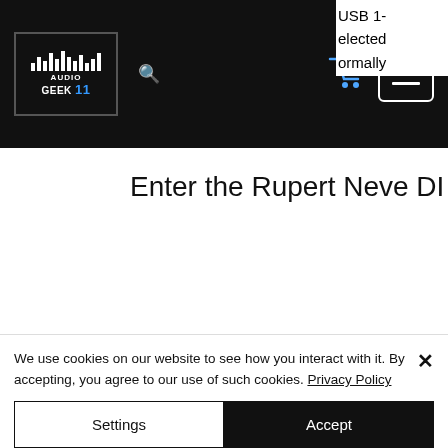Audio Geek 11 — navigation bar with logo, search, cart (0), hamburger menu
USB 1- elected ormally to a stereo output for listening.
Note that software monitoring in the DAW has to be turned on, and the analog sound coming from the Helix into the Babyface has been disabled.
Enter the Rupert Neve DI
We use cookies on our website to see how you interact with it. By accepting, you agree to our use of such cookies. Privacy Policy